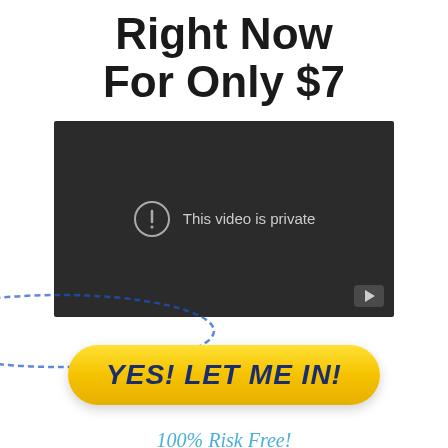Right Now For Only $7
[Figure (screenshot): Video player showing 'This video is private' message on dark background with play button icon]
[Figure (infographic): Yellow CTA button reading 'YES! LET ME IN!' surrounded by blue oval ring strokes]
100% Risk Free! 30 Day Money Back Guarantee